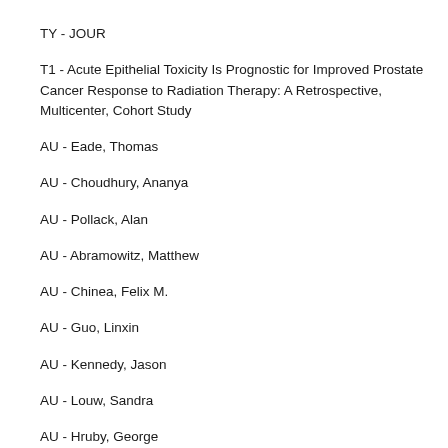TY  - JOUR
T1  - Acute Epithelial Toxicity Is Prognostic for Improved Prostate Cancer Response to Radiation Therapy: A Retrospective, Multicenter, Cohort Study
AU  - Eade, Thomas
AU  - Choudhury, Ananya
AU  - Pollack, Alan
AU  - Abramowitz, Matthew
AU  - Chinea, Felix M.
AU  - Guo, Linxin
AU  - Kennedy, Jason
AU  - Louw, Sandra
AU  - Hruby, George